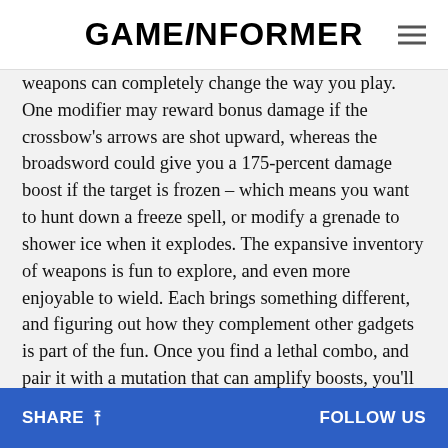GAMEINFORMER
weapons can completely change the way you play. One modifier may reward bonus damage if the crossbow’s arrows are shot upward, whereas the broadsword could give you a 175-percent damage boost if the target is frozen – which means you want to hunt down a freeze spell, or modify a grenade to shower ice when it explodes. The expansive inventory of weapons is fun to explore, and even more enjoyable to wield. Each brings something different, and figuring out how they complement other gadgets is part of the fun. Once you find a lethal combo, and pair it with a mutation that can amplify boosts, you’ll be stomping bosses and gaining cells like mad.
SHARE   FOLLOW US